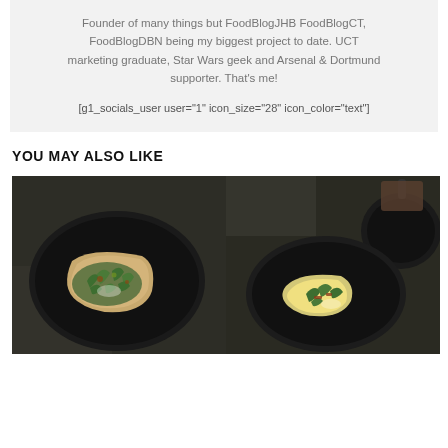Founder of many things but FoodBlogJHB FoodBlogCT, FoodBlogDBN being my biggest project to date. UCT marketing graduate, Star Wars geek and Arsenal & Dortmund supporter. That's me!
[g1_socials_user user="1" icon_size="28" icon_color="text"]
YOU MAY ALSO LIKE
[Figure (photo): Two dark plates with food items - left plate shows an open-faced toast with greens/arugula and toppings, right plate shows eggs and greens, with a dark skillet and cutting board visible in the background, shot from above on a wooden surface]